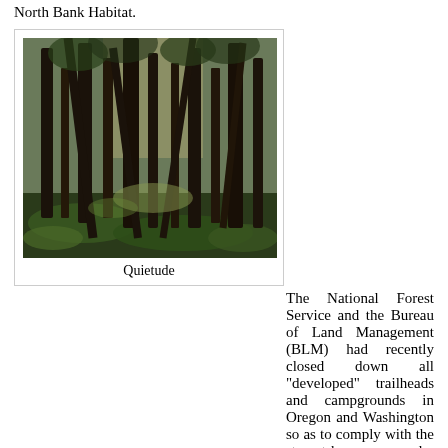North Bank Habitat.
[Figure (photo): A forest scene with tall trees and mossy ground, sunlight filtering through the trees. Caption: Quietude.]
Quietude
The National Forest Service and the Bureau of Land Management (BLM) had recently closed down all "developed" trailheads and campgrounds in Oregon and Washington so as to comply with the stay-at-home order issued by each state. It's kind of ironic because hiking is the ultimate in social distancing and is healthy both on a physical and mental basis. But having seen the goobers congregating en masse at trailheads, I absolutely comprehend why they felt the need to shut everything down. I made a round of phone calls asking about the possibility of hiking in "undeveloped" areas and was told absolutely no way but